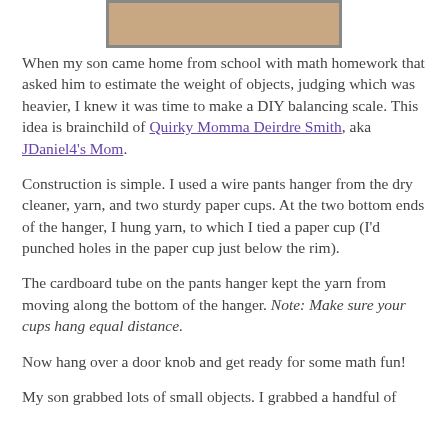[Figure (photo): Partial photo of a DIY balancing scale, showing the top edge of the image]
When my son came home from school with math homework that asked him to estimate the weight of objects, judging which was heavier, I knew it was time to make a DIY balancing scale. This idea is brainchild of Quirky Momma Deirdre Smith, aka JDaniel4's Mom.
Construction is simple. I used a wire pants hanger from the dry cleaner, yarn, and two sturdy paper cups. At the two bottom ends of the hanger, I hung yarn, to which I tied a paper cup (I'd punched holes in the paper cup just below the rim).
The cardboard tube on the pants hanger kept the yarn from moving along the bottom of the hanger. Note: Make sure your cups hang equal distance.
Now hang over a door knob and get ready for some math fun!
My son grabbed lots of small objects. I grabbed a handful of